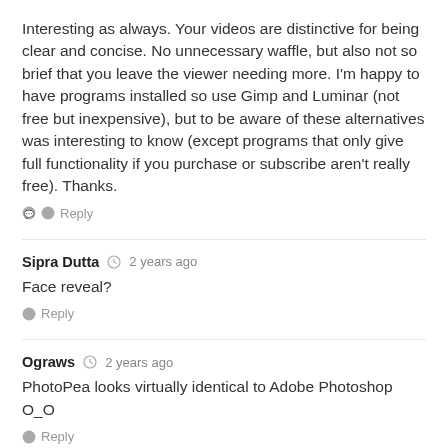Interesting as always. Your videos are distinctive for being clear and concise. No unnecessary waffle, but also not so brief that you leave the viewer needing more. I'm happy to have programs installed so use Gimp and Luminar (not free but inexpensive), but to be aware of these alternatives was interesting to know (except programs that only give full functionality if you purchase or subscribe aren't really free). Thanks.
Reply
Sipra Dutta  2 years ago
Face reveal?
Reply
Ograws  2 years ago
PhotoPea looks virtually identical to Adobe Photoshop O_O
Reply